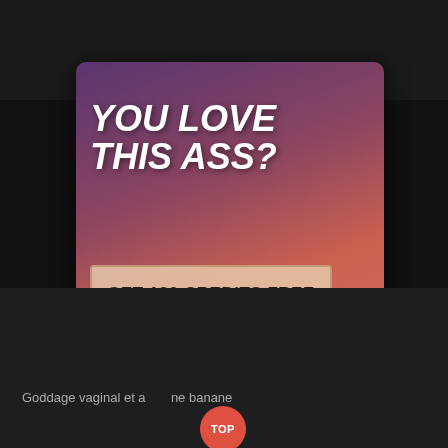[Figure (screenshot): Adult advertisement popup with text 'YOU LOVE THIS ASS?' and a call-to-action button 'GET 120 CREDITS FREE' over a gradient background with an image of a woman.]
Close [X]
Goddage vaginal et a... ne banane
TOP